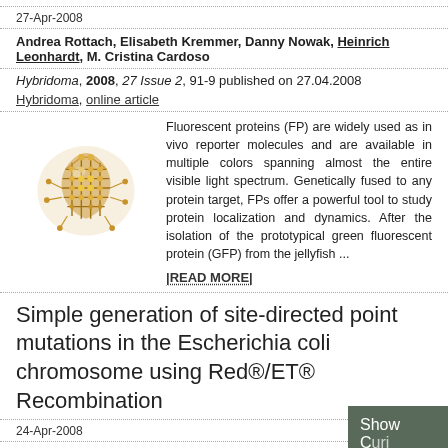27-Apr-2008
Andrea Rottach, Elisabeth Kremmer, Danny Nowak, Heinrich Leonhardt, M. Cristina Cardoso
Hybridoma, 2008, 27 Issue 2, 91-9 published on 27.04.2008
Hybridoma, online article
[Figure (illustration): Golden/bronze colored molecular structure illustration resembling a protein or crystal lattice]
Fluorescent proteins (FP) are widely used as in vivo reporter molecules and are available in multiple colors spanning almost the entire visible light spectrum. Genetically fused to any protein target, FPs offer a powerful tool to study protein localization and dynamics. After the isolation of the prototypical green fluorescent protein (GFP) from the jellyfish ...
|READ MORE|
Simple generation of site-directed point mutations in the Escherichia coli chromosome using Red®/ET® Recombination
24-Apr-2008
Ralf Heermann, Tim Zeppenfeld, Kirsten Jung
Microbial Cell Factories, 2008, 7:14, doi:10.1186/1475-2859-7-14 pub